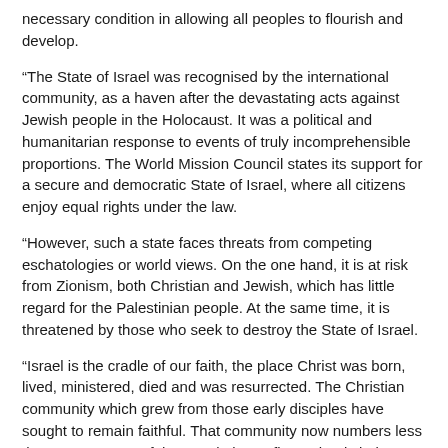necessary condition in allowing all peoples to flourish and develop.
“The State of Israel was recognised by the international community, as a haven after the devastating acts against Jewish people in the Holocaust. It was a political and humanitarian response to events of truly incomprehensible proportions. The World Mission Council states its support for a secure and democratic State of Israel, where all citizens enjoy equal rights under the law.
“However, such a state faces threats from competing eschatologies or world views. On the one hand, it is at risk from Zionism, both Christian and Jewish, which has little regard for the Palestinian people. At the same time, it is threatened by those who seek to destroy the State of Israel.
“Israel is the cradle of our faith, the place Christ was born, lived, ministered, died and was resurrected. The Christian community which grew from those early disciples have sought to remain faithful. That community now numbers less than two per cent of the population, a figure that is being constantly eroded and losing its roots as more and more families choose to leave. Today, there are more Christians living in Chile than there are in Palestine.
“But also the Church of Scotland through the Scottish historic and